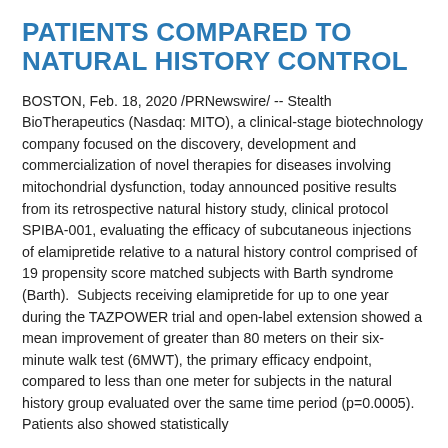PATIENTS COMPARED TO NATURAL HISTORY CONTROL
BOSTON, Feb. 18, 2020 /PRNewswire/ -- Stealth BioTherapeutics (Nasdaq: MITO), a clinical-stage biotechnology company focused on the discovery, development and commercialization of novel therapies for diseases involving mitochondrial dysfunction, today announced positive results from its retrospective natural history study, clinical protocol SPIBA-001, evaluating the efficacy of subcutaneous injections of elamipretide relative to a natural history control comprised of 19 propensity score matched subjects with Barth syndrome (Barth). Subjects receiving elamipretide for up to one year during the TAZPOWER trial and open-label extension showed a mean improvement of greater than 80 meters on their six-minute walk test (6MWT), the primary efficacy endpoint, compared to less than one meter for subjects in the natural history group evaluated over the same time period (p=0.0005). Patients also showed statistically